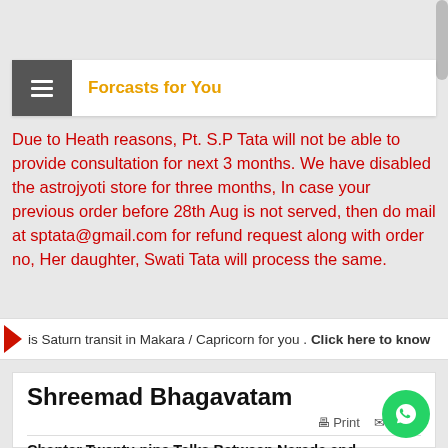Forcasts for You
Due to Heath reasons, Pt. S.P Tata will not be able to provide consultation for next 3 months. We have disabled the astrojyoti store for three months, In case your previous order before 28th Aug is not served, then do mail at sptata@gmail.com for refund request along with order no, Her daughter, Swati Tata will process the same.
is Saturn transit in Makara / Capricorn for you . Click here to know
Shreemad Bhagavatam
Chapter Twenty-nine Talks Between Narada and King Pracinabarhi